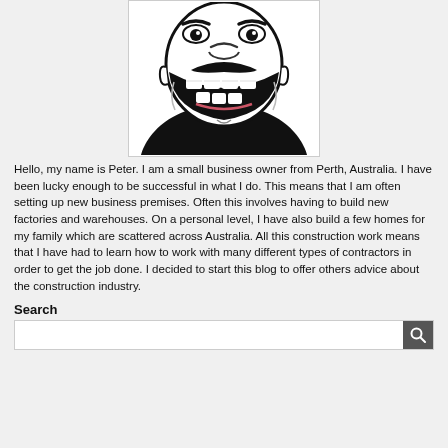[Figure (illustration): Black and white cartoon illustration of a man with a wide open grinning mouth showing teeth, large face, wearing a black shirt, cropped at the shoulders, displayed in a white box with border.]
Hello, my name is Peter. I am a small business owner from Perth, Australia. I have been lucky enough to be successful in what I do. This means that I am often setting up new business premises. Often this involves having to build new factories and warehouses. On a personal level, I have also build a few homes for my family which are scattered across Australia. All this construction work means that I have had to learn how to work with many different types of contractors in order to get the job done. I decided to start this blog to offer others advice about the construction industry.
Search